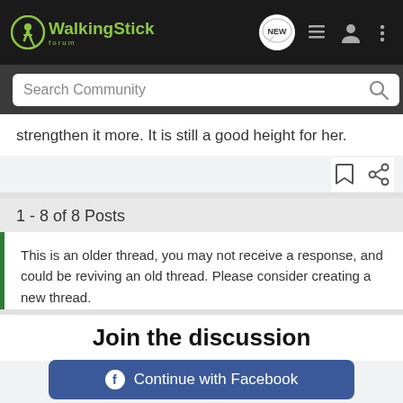[Figure (logo): WalkingStick Forum logo with circular walking figure icon in green on dark navbar]
[Figure (screenshot): Navigation icons: NEW chat bubble, list icon, user icon, three-dot menu]
Search Community
strengthen it more. It is still a good height for her.
1 - 8 of 8 Posts
This is an older thread, you may not receive a response, and could be reviving an old thread. Please consider creating a new thread.
Join the discussion
Continue with Facebook
Continue with Google